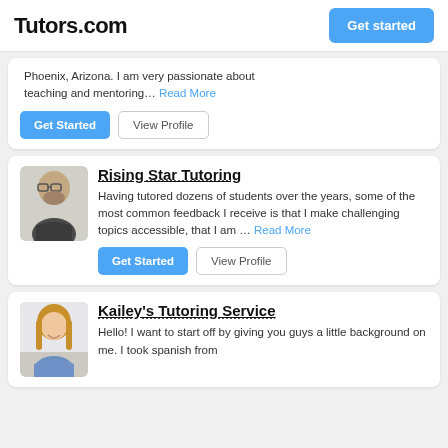Tutors.com | Get started
Phoenix, Arizona. I am very passionate about teaching and mentoring... Read More
Get Started | View Profile
Rising Star Tutoring
Having tutored dozens of students over the years, some of the most common feedback I receive is that I make challenging topics accessible, that I am ... Read More
Get Started | View Profile
Kailey's Tutoring Service
Hello! I want to start off by giving you guys a little background on me. I took spanish from